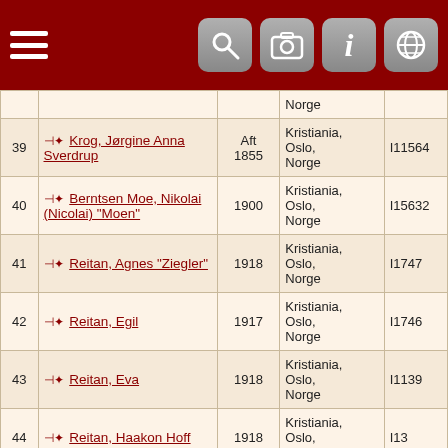[Figure (screenshot): Mobile app navigation bar with hamburger menu on left and four icon buttons (search, camera, info, globe) on right, dark red background]
| # | Name | Date | Location | ID |
| --- | --- | --- | --- | --- |
|  |  |  | Norge |  |
| 39 | Krog, Jørgine Anna Sverdrup | Aft 1855 | Kristiania, Oslo, Norge | I11564 |
| 40 | Berntsen Moe, Nikolai (Nicolai) "Moen" | 1900 | Kristiania, Oslo, Norge | I15632 |
| 41 | Reitan, Agnes "Ziegler" | 1918 | Kristiania, Oslo, Norge | I1747 |
| 42 | Reitan, Egil | 1917 | Kristiania, Oslo, Norge | I1746 |
| 43 | Reitan, Eva | 1918 | Kristiania, Oslo, Norge | I1139 |
| 44 | Reitan, Haakon Hoff | 1918 | Kristiania, Oslo, Norge | I13 |
| 45 | Reitan, Haakon Hoff | Bef 21 Jun 1921 | Kristiania, Oslo, Norge | I13 |
| 46 | Reitan, Haakon Hoff | Aft Aug | Kristiania, Oslo, | I13 |